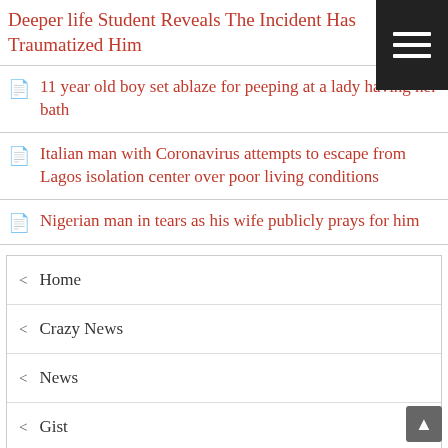Deeper life Student Reveals The Incident Has Traumatized Him
11 year old boy set ablaze for peeping at a lady having her bath
Italian man with Coronavirus attempts to escape from Lagos isolation center over poor living conditions
Nigerian man in tears as his wife publicly prays for him
Home
Crazy News
News
Gist
Celebrity Gists